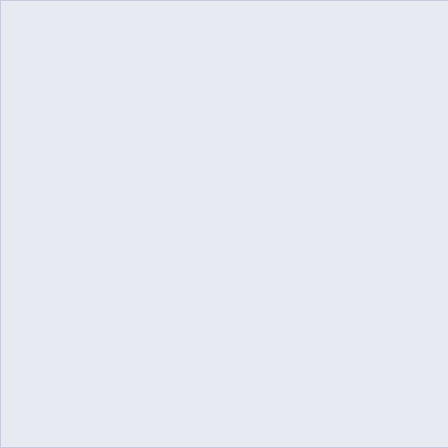November 2004
October 2004
September 2004
August 2004
July 2004
June 2004
May 2004
April 2004
March 2004
February 2004
January 2004
December 2003
November 2003
October 2003
September 2003
August 2003
July 2003
June 2003
May 2003
April 2003
March 2003
February 2003
January 2003
December 2002
November 2002
October 2002
September 2002
August 2002
July 2002
June 2002
May 2002
April 2002